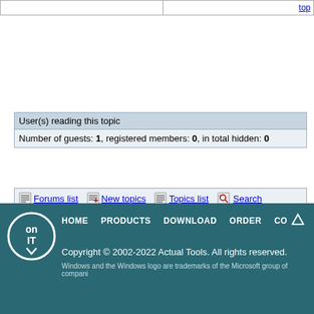|  | top |
| --- | --- |
|  |  |
User(s) reading this topic
Number of guests: 1, registered members: 0, in total hidden: 0
[Figure (screenshot): Forum navigation bar with icons: Forums list, New topics, Topics list, Search, Help, Login, Register]
HOME  PRODUCTS  DOWNLOAD  ORDER  CO... Copyright © 2002-2022 Actual Tools. All rights reserved. Windows and the Windows logo are trademarks of the Microsoft group of compani...